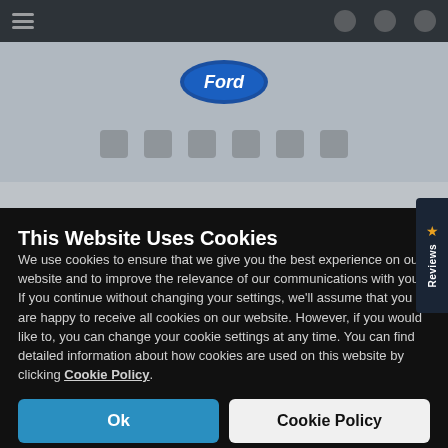[Figure (screenshot): Blurred Ford website background with dark navigation bar at top, Ford oval logo in center, social media icons row, and gray bar at bottom]
This Website Uses Cookies
We use cookies to ensure that we give you the best experience on our website and to improve the relevance of our communications with you. If you continue without changing your settings, we'll assume that you are happy to receive all cookies on our website. However, if you would like to, you can change your cookie settings at any time. You can find detailed information about how cookies are used on this website by clicking Cookie Policy.